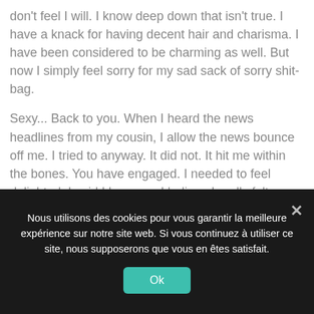don't feel I will. I know deep down that isn't true. I have a knack for having decent hair and charisma. I have been considered to be charming as well. But now I simply feel sorry for my sad sack of sorry shit-bag.
Sexy... Back to you. When I heard the news headlines from my cousin, I allow the news bounce off me. I tried to anyway. It did not. It hit me within the bones. You have engaged. I needed to feel delighted, I said I became. I believe I really felt indifferent, seriously. Do not get me wrong, I would like to be delighted for you, but, man... It's simply not occurring. And that's bullshit. You didn't wrong me. You did not do me wrong and, the fact is, you left me off much better than you found
Nous utilisons des cookies pour vous garantir la meilleure expérience sur notre site web. Si vous continuez à utiliser ce site, nous supposerons que vous en êtes satisfait.